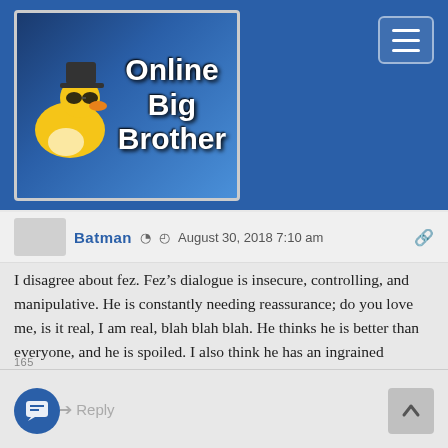[Figure (logo): Online Big Brother website logo with a rubber duck wearing sunglasses and a hat, on blue background, with text 'Online Big Brother']
Batman  August 30, 2018 7:10 am
I disagree about fez. Fez’s dialogue is insecure, controlling, and manipulative. He is constantly needing reassurance; do you love me, is it real, I am real, blah blah blah. He thinks he is better than everyone, and he is spoiled. I also think he has an ingrained prejudice against women. He may be nice, but these things really turn me off. However, I think hay is insecure as well, and it boggles my mind they are together. I dont know if they enjoy being toxic together? I just dont see any real chemistry between them. Just like real life, they can’t admit there is nothing solid, and hope something will magically happen.
165  Reply